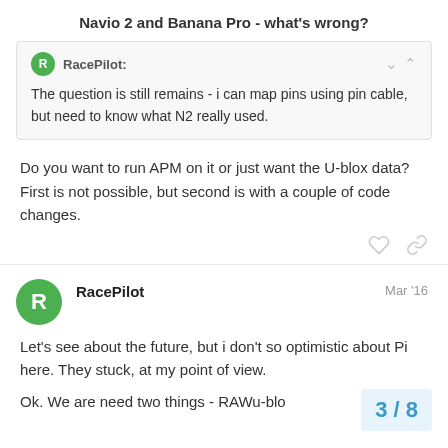Navio 2 and Banana Pro - what's wrong?
RacePilot: The question is still remains - i can map pins using pin cable, but need to know what N2 really used.
Do you want to run APM on it or just want the U-blox data? First is not possible, but second is with a couple of code changes.
RacePilot  Mar '16
Let's see about the future, but i don't so optimistic about Pi here. They stuck, at my point of view.
Ok. We are need two things - RAWu-blo
3 / 8